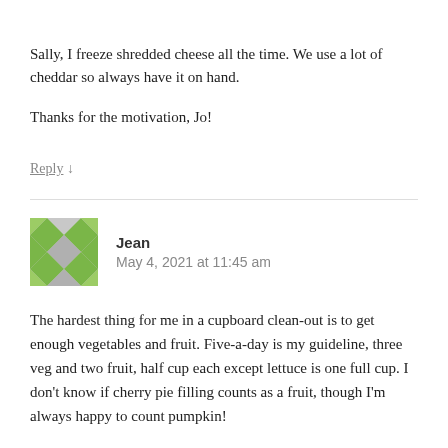Sally, I freeze shredded cheese all the time. We use a lot of cheddar so always have it on hand.

Thanks for the motivation, Jo!
Reply ↓
Jean
May 4, 2021 at 11:45 am
The hardest thing for me in a cupboard clean-out is to get enough vegetables and fruit. Five-a-day is my guideline, three veg and two fruit, half cup each except lettuce is one full cup. I don't know if cherry pie filling counts as a fruit, though I'm always happy to count pumpkin!